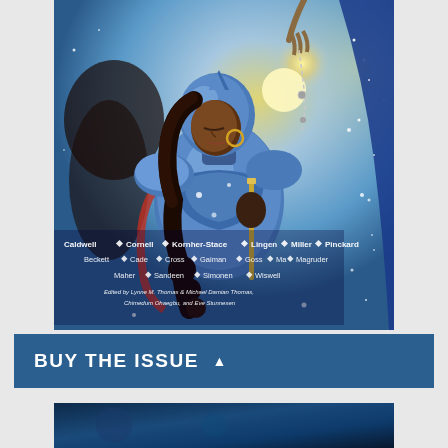[Figure (illustration): Comic/magazine cover art showing a dark-skinned woman in shining blue armor, bowing her head with eyes closed, holding a staff or scepter. She has curly black hair with braids and gold hoop earrings. A hand from above holds a rosary or chain over her. A blue starry fabric is visible on the right side. Background has a glowing sun. Author names are overlaid at the bottom: Caldwell, Cornell, Kornher-Stace, Lingen, Miller, Pinckard (first row); Beckett, Cade, Cross, Gaiman, Goss, Ma, Magruder (second row); Maher, Sandeen, Simonen, Wiswell (third row). Edited by Lynne M. Thomas & Michael Damian Thomas, Chimedum Ohaegbu, and Eve Stunnesen.]
BUY THE ISSUE ▲
[Figure (illustration): Bottom strip showing partial view of another magazine cover or illustration with dark blue tones.]